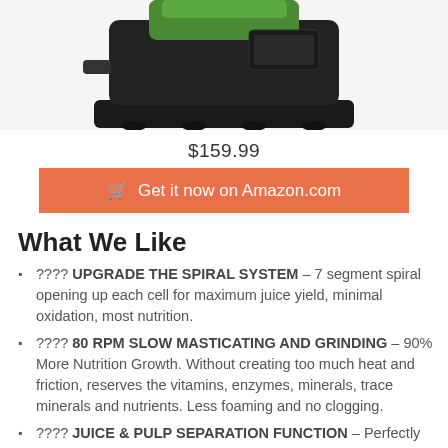[Figure (photo): Photo of a black masticating juicer with green juice container, shown from above/front angle, partially cropped at top of page.]
$159.99
🛒 Get it now on Amazon.com
What We Like
???? UPGRADE THE SPIRAL SYSTEM – 7 segment spiral opening up each cell for maximum juice yield, minimal oxidation, most nutrition.
???? 80 RPM SLOW MASTICATING AND GRINDING – 90% More Nutrition Growth. Without creating too much heat and friction, reserves the vitamins, enzymes, minerals, trace minerals and nutrients. Less foaming and no clogging.
???? JUICE & PULP SEPARATION FUNCTION – Perfectly separates the pomace from the juice, and